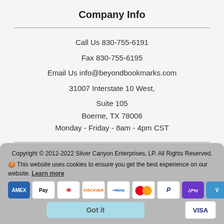Company Info
Call Us 830-755-6191
Fax 830-755-6195
Email Us info@beyondbookmarks.com
31007 Interstate 10 West, Suite 105 Boerne, TX 78006 Monday - Friday - 8am - 4pm CST
Copyright © 2012-2022 Silver Canyon Enterprises, LP. All Rights Reserved.
🍪 This website uses cookies to ensure you get the best experience on our website. Learn more
[Figure (other): Payment method icons: AMEX, Apple Pay, Diners Club, Discover, Meta Pay, Mastercard, PayPal, GPay, Venmo, Visa]
Got it